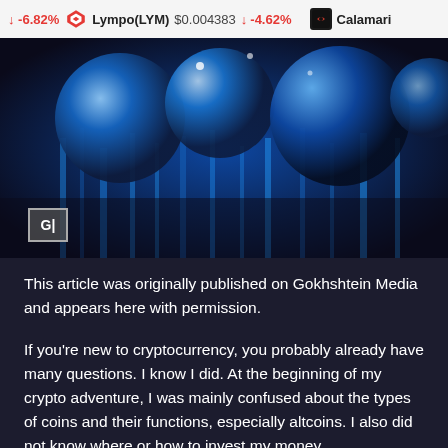-6.82%   Lympo(LYM) $0.004383  -4.62%   Calamari
[Figure (photo): Hero image of glowing blue spheres and abstract digital background. A small grey badge with 'G|' text overlay appears in the lower left corner of the image.]
This article was originally published on Gokhshtein Media and appears here with permission.
If you're new to cryptocurrency, you probably already have many questions. I know I did. At the beginning of my crypto adventure, I was mainly confused about the types of coins and their functions, especially altcoins. I also did not know where or how to invest my money.
Through research and mentoring, I've expanded my knowledge on all-things crypto and made it my mission to help others like you. The Hodly Investor club advice provides...